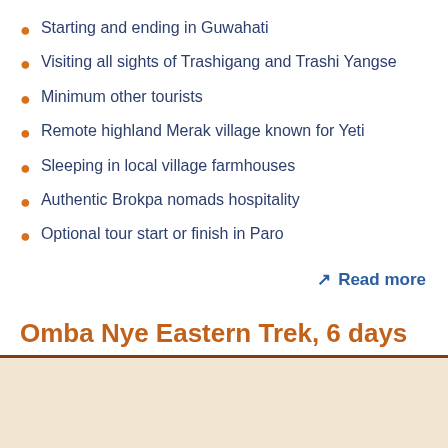Starting and ending in Guwahati
Visiting all sights of Trashigang and Trashi Yangse
Minimum other tourists
Remote highland Merak village known for Yeti
Sleeping in local village farmhouses
Authentic Brokpa nomads hospitality
Optional tour start or finish in Paro
↗ Read more
Omba Nye Eastern Trek, 6 days
[Figure (photo): Beige/cream colored image placeholder area below the section title]